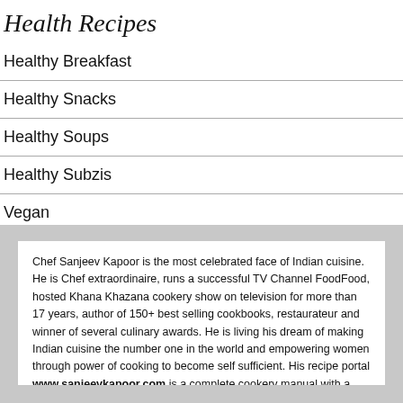Health Recipes
Healthy Breakfast
Healthy Snacks
Healthy Soups
Healthy Subzis
Vegan
Chef Sanjeev Kapoor is the most celebrated face of Indian cuisine. He is Chef extraordinaire, runs a successful TV Channel FoodFood, hosted Khana Khazana cookery show on television for more than 17 years, author of 150+ best selling cookbooks, restaurateur and winner of several culinary awards. He is living his dream of making Indian cuisine the number one in the world and empowering women through power of cooking to become self sufficient. His recipe portal www.sanjeevkapoor.com is a complete cookery manual with a compendium of more than 10,000 tried & tested recipes, videos,